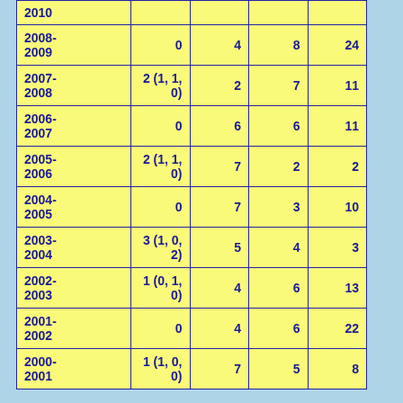| 2010 |  |  |  |  |
| 2008-2009 | 0 | 4 | 8 | 24 |
| 2007-2008 | 2 (1, 1, 0) | 2 | 7 | 11 |
| 2006-2007 | 0 | 6 | 6 | 11 |
| 2005-2006 | 2 (1, 1, 0) | 7 | 2 | 2 |
| 2004-2005 | 0 | 7 | 3 | 10 |
| 2003-2004 | 3 (1, 0, 2) | 5 | 4 | 3 |
| 2002-2003 | 1 (0, 1, 0) | 4 | 6 | 13 |
| 2001-2002 | 0 | 4 | 6 | 22 |
| 2000-2001 | 1 (1, 0, 0) | 7 | 5 | 8 |